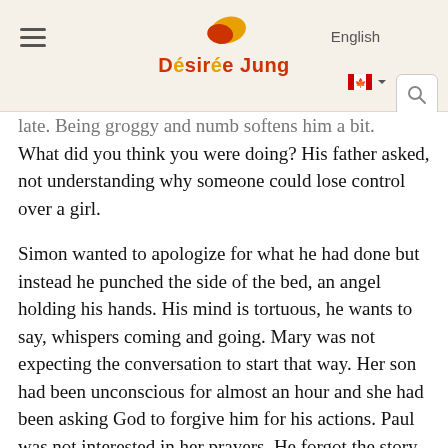Désirée Jung — English
late. Being groggy and numb softens him a bit. What did you think you were doing? His father asked, not understanding why someone could lose control over a girl.
Simon wanted to apologize for what he had done but instead he punched the side of the bed, an angel holding his hands. His mind is tortuous, he wants to say, whispers coming and going. Mary was not expecting the conversation to start that way. Her son had been unconscious for almost an hour and she had been asking God to forgive him for his actions. Paul was not interested in her prayers. He forgot the story of his birth or how long it had taken her to be pregnant. She knew it was divine intervention but he refused to believe in her version of the story. What